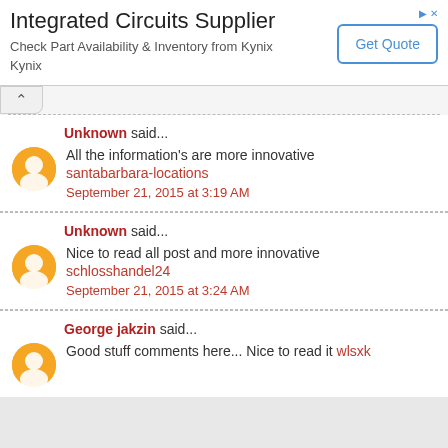[Figure (screenshot): Advertisement banner for Integrated Circuits Supplier - Kynix]
Unknown said...
All the information's are more innovative
santabarbara-locations
September 21, 2015 at 3:19 AM
Unknown said...
Nice to read all post and more innovative
schlosshandel24
September 21, 2015 at 3:24 AM
George jakzin said...
Good stuff comments here... Nice to read it wlsxk